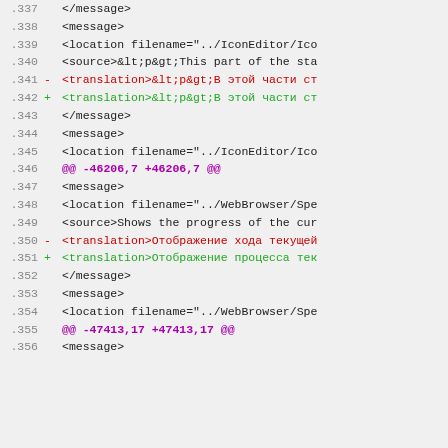Code diff view showing XML translation file lines 337-356
.337        </message>
.338        <message>
.339             <location filename="../IconEditor/Ico
.340             <source>&lt;p&gt;This part of the sta
.341  -          <translation>&lt;p&gt;В этой части ст
.342  +          <translation>&lt;p&gt;В этой части ст
.343        </message>
.344        <message>
.345             <location filename="../IconEditor/Ico
.346  @@ -46206,7 +46206,7 @@
.347        <message>
.348             <location filename="../WebBrowser/Spe
.349             <source>Shows the progress of the cur
.350  -          <translation>Отображение хода текущей
.351  +          <translation>Отображение процесса тек
.352        </message>
.353        <message>
.354             <location filename="../WebBrowser/Spe
.355  @@ -47413,17 +47413,17 @@
.356        <message>